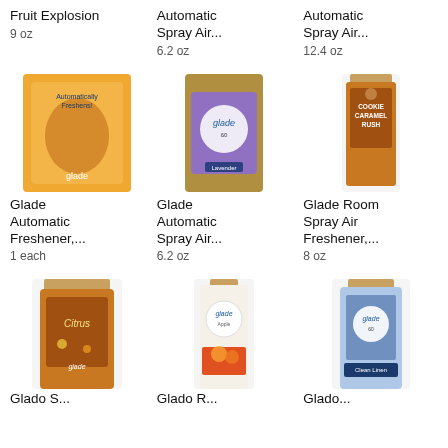Fruit Explosion
9 oz
Automatic Spray Air...
6.2 oz
Automatic Spray Air...
12.4 oz
[Figure (photo): Glade Automatic Freshener product in orange box]
[Figure (photo): Glade Automatic Spray Air freshener purple bottle]
[Figure (photo): Glade Cookie Caramel Rush Room Spray can]
Glade Automatic Freshener,...
1 each
Glade Automatic Spray Air...
6.2 oz
Glade Room Spray Air Freshener,...
8 oz
[Figure (photo): Glade Citrus automatic spray gold bottle]
[Figure (photo): Glade room spray can with apple cinnamon scent]
[Figure (photo): Glade automatic spray blue bottle]
Glado S...
Glado R...
Glado...